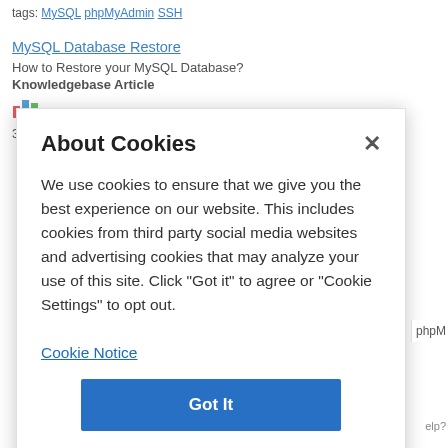tags: MySQL phpMyAdmin SSH
MySQL Database Restore
How to Restore your MySQL Database?
Knowledgebase Article
321,927 views
About Cookies
We use cookies to ensure that we give you the best experience on our website. This includes cookies from third party social media websites and advertising cookies that may analyze your use of this site. Click "Got it" to agree or "Cookie Settings" to opt out.
Cookie Notice
Got It
Cookies Settings